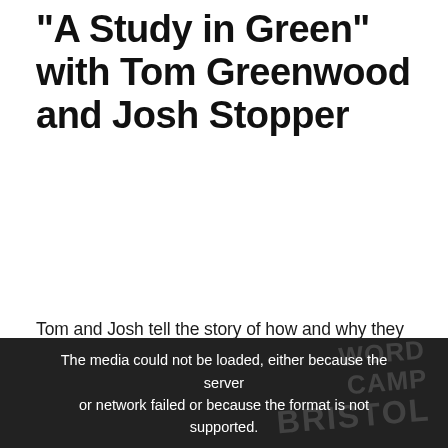“A Study in Green” with Tom Greenwood and Josh Stopper
Tom and Josh tell the story of how and why they developed WebsiteCarbon.com which analyzes the energy usage of web projects. For their own projects, the outcome was a 75% reduction in carbon emissions, greatly improved page load speed and better user experience. We interviewed Tom last year and he has just published a new book: “Sustainable Web Design”.
[Figure (other): Dark video/media placeholder with error message: 'The media could not be loaded, either because the server or network failed or because the format is not supported.' with a faint WordCamp Bristol logo watermark in the background.]